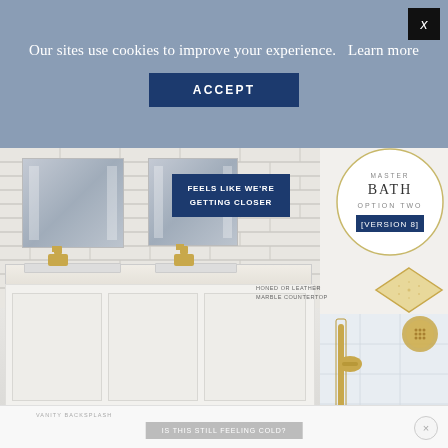Our sites use cookies to improve your experience.  Learn more
ACCEPT
FEELS LIKE WE'RE GETTING CLOSER
[Figure (photo): Bathroom vanity with double sinks, white wall-mount cabinet with three doors, two rectangular lighted mirrors on white brick tile wall, gold wall-mount faucets, white marble countertop]
HONED OR LEATHER MARBLE COUNTERTOP
[Figure (illustration): Circle badge reading MASTER BATH OPTION TWO [VERSION 8] with gold ring border]
[Figure (photo): Diamond-shaped marble tile sample in gold and white]
[Figure (photo): Gold shower fixtures including hand shower, shower head, body sprays on white marble tile background]
VANITY BACKSPLASH
IS THIS STILL FEELING COLD?